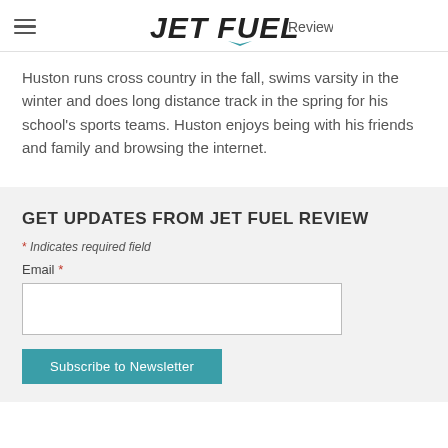JET FUEL Review
Huston runs cross country in the fall, swims varsity in the winter and does long distance track in the spring for his school's sports teams. Huston enjoys being with his friends and family and browsing the internet.
GET UPDATES FROM JET FUEL REVIEW
* Indicates required field
Email *
Subscribe to Newsletter